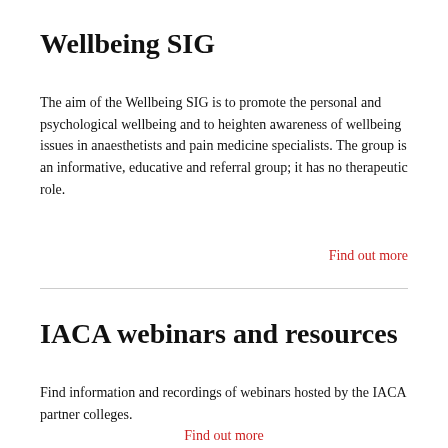Wellbeing SIG
The aim of the Wellbeing SIG is to promote the personal and psychological wellbeing and to heighten awareness of wellbeing issues in anaesthetists and pain medicine specialists. The group is an informative, educative and referral group; it has no therapeutic role.
Find out more
IACA webinars and resources
Find information and recordings of webinars hosted by the IACA partner colleges.
Find out more